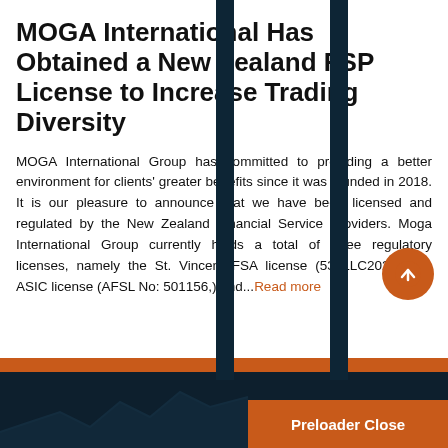MOGA International Has Obtained a New Zealand FSP License to Increase Trading Diversity
MOGA International Group has committed to providing a better environment for clients' greater benefits since it was founded in 2018. It is our pleasure to announce that we have been licensed and regulated by the New Zealand Financial Service Providers. Moga International Group currently holds a total of three regulatory licenses, namely the St. Vincent FSA license (532LLC2020,) the ASIC license (AFSL No: 501156,) and...Read more
[Figure (other): Scroll-to-top circular button with upward arrow icon in orange]
Preloader Close